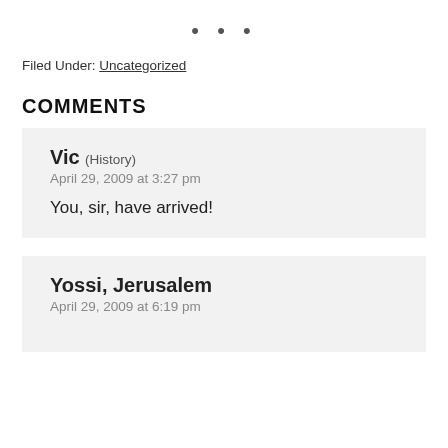• • •
Filed Under: Uncategorized
COMMENTS
Vic (History)
April 29, 2009 at 3:27 pm
You, sir, have arrived!
Yossi, Jerusalem
April 29, 2009 at 6:19 pm